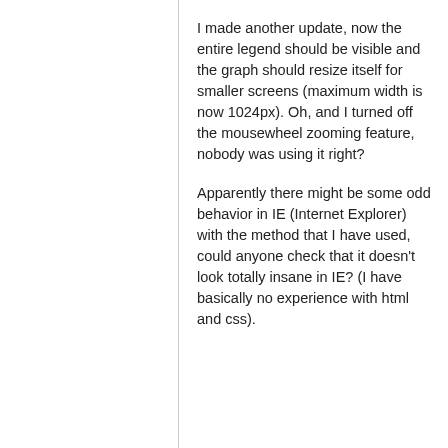I made another update, now the entire legend should be visible and the graph should resize itself for smaller screens (maximum width is now 1024px). Oh, and I turned off the mousewheel zooming feature, nobody was using it right?
Apparently there might be some odd behavior in IE (Internet Explorer) with the method that I have used, could anyone check that it doesn't look totally insane in IE? (I have basically no experience with html and css).